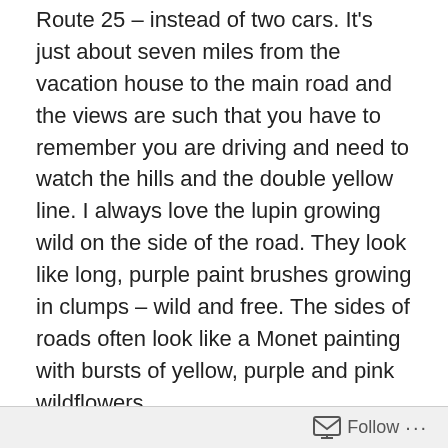Route 25 – instead of two cars. It's just about seven miles from the vacation house to the main road and the views are such that you have to remember you are driving and need to watch the hills and the double yellow line. I always love the lupin growing wild on the side of the road. They look like long, purple paint brushes growing in clumps – wild and free. The sides of roads often look like a Monet painting with bursts of yellow, purple and pink wildflowers.
Once I got out to the main road this morning, I went into gym-rat mode. Because I have really accepted that I need to be a gym rat and work out three times a week for about 90-minutes, I knew I could NOT go without visiting a gym – even during vacation. When we came up to NH a few weeks ago to visit Adam at camp, I paid a fee to visit the gym that is closest to our vacation house – about 15
Follow